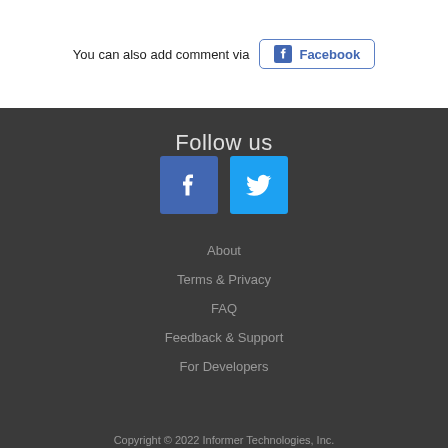You can also add comment via  Facebook
Follow us
[Figure (logo): Facebook and Twitter social media icons side by side]
About
Terms & Privacy
FAQ
Feedback & Support
For Developers
Copyright © 2022 Informer Technologies, Inc.